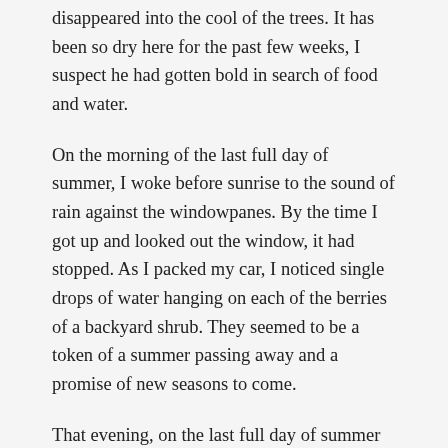disappeared into the cool of the trees. It has been so dry here for the past few weeks, I suspect he had gotten bold in search of food and water.
On the morning of the last full day of summer, I woke before sunrise to the sound of rain against the windowpanes. By the time I got up and looked out the window, it had stopped. As I packed my car, I noticed single drops of water hanging on each of the berries of a backyard shrub. They seemed to be a token of a summer passing away and a promise of new seasons to come.
That evening, on the last full day of summer in Birmingham, it was hot and dry with clouds worthy of a biblical Renaissance landscape floating overhead. The neighborhood ice cream shop in Bluff Park atop Shades Mountain was packed to overflowing with people gathered in the parking lot and on benches outside the little shop. Suddenly, from one of the...